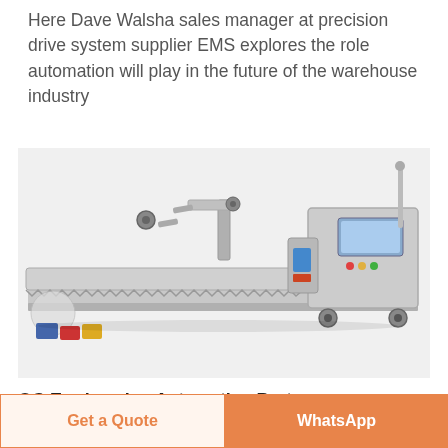Here Dave Walsha sales manager at precision drive system supplier EMS explores the role automation will play in the future of the warehouse industry
[Figure (photo): Industrial automated packaging/conveyor machine with metal frame, conveyor belt, mechanical arms, and a control panel with display screen, shown on white background.]
OG Engineering Automation Parts
Get a Quote
WhatsApp